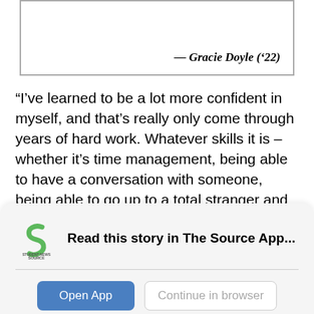— Gracie Doyle ('22)
“I’ve learned to be a lot more confident in myself, and that’s really only come through years of hard work. Whatever skills it is – whether it’s time management, being able to have a conversation with someone, being able to go up to a total stranger and ask them questions – it’s all really built up my confidence for better or for worse,” Doyle said. “It’s all built up my confidence in ways that, now going into college,
Read this story in The Source App...
Open App
Continue in browser